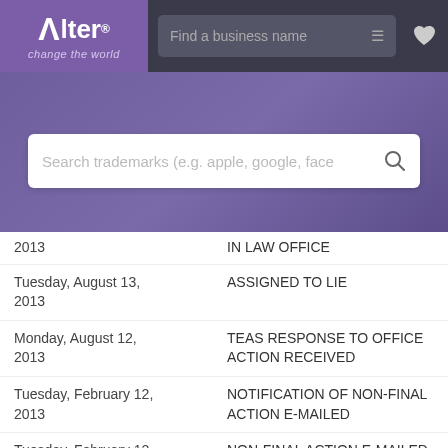[Figure (screenshot): Alter brand logo with purple background, 'change the world' tagline]
Find a business name [search bar with filter icon and heart icon]
Search trademarks (e.g. apple, google, face [search bar]
| Date | Action |
| --- | --- |
| [partial] 2013 | IN LAW OFFICE |
| Tuesday, August 13, 2013 | ASSIGNED TO LIE |
| Monday, August 12, 2013 | TEAS RESPONSE TO OFFICE ACTION RECEIVED |
| Tuesday, February 12, 2013 | NOTIFICATION OF NON-FINAL ACTION E-MAILED |
| Tuesday, February 12, 2013 | NON-FINAL ACTION E-MAILED |
| Tuesday, February 12, 2013 | NON-FINAL ACTION WRITTEN |